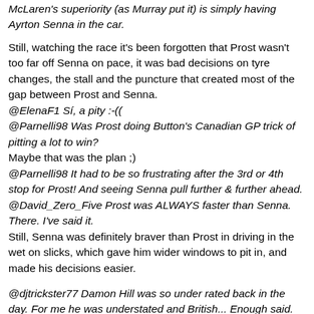McLaren's superiority (as Murray put it) is simply having Ayrton Senna in the car.
Still, watching the race it's been forgotten that Prost wasn't too far off Senna on pace, it was bad decisions on tyre changes, the stall and the puncture that created most of the gap between Prost and Senna.
@ElenaF1 Sí, a pity :-(
@Parnelli98 Was Prost doing Button's Canadian GP trick of pitting a lot to win?
Maybe that was the plan ;)
@Parnelli98 It had to be so frustrating after the 3rd or 4th stop for Prost! And seeing Senna pull further & further ahead.
@David_Zero_Five Prost was ALWAYS faster than Senna. There. I've said it.
Still, Senna was definitely braver than Prost in driving in the wet on slicks, which gave him wider windows to pit in, and made his decisions easier.
@djtrickster77 Damon Hill was so under rated back in the day. For me he was understated and British... Enough said. Damon Hill was always more than I'd...